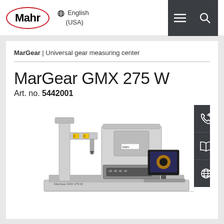[Figure (logo): Mahr logo in red oval]
English (USA)
MarGear | Universal gear measuring center
MarGear GMX 275 W
Art. no. 5442001
[Figure (photo): MarGear GMX 275 W universal gear measuring center machine with computer workstation]